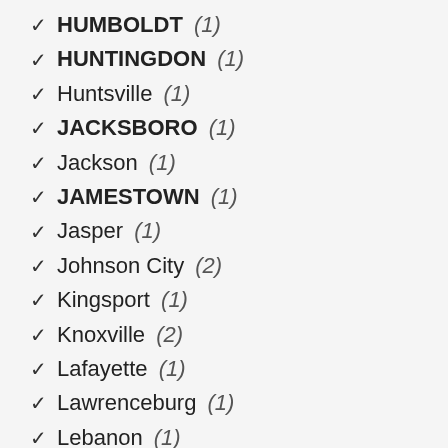HUMBOLDT (1)
HUNTINGDON (1)
Huntsville (1)
JACKSBORO (1)
Jackson (1)
JAMESTOWN (1)
Jasper (1)
Johnson City (2)
Kingsport (1)
Knoxville (2)
Lafayette (1)
Lawrenceburg (1)
Lebanon (1)
Lewisburg (1)
LEXINGTON (2)